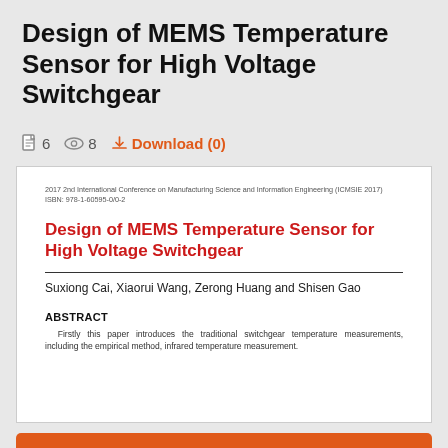Design of MEMS Temperature Sensor for High Voltage Switchgear
6  8  Download (0)
2017 2nd International Conference on Manufacturing Science and Information Engineering (ICMSIE 2017)
ISBN: 978-1-60595-0/0-2
Design of MEMS Temperature Sensor for High Voltage Switchgear
Suxiong Cai, Xiaorui Wang, Zerong Huang and Shisen Gao
ABSTRACT
Firstly this paper introduces the traditional switchgear temperature measurements, including the empirical method, infrared temperature measurement.
DOWNLOAD (PDF - 6 Page - 726.78KB)